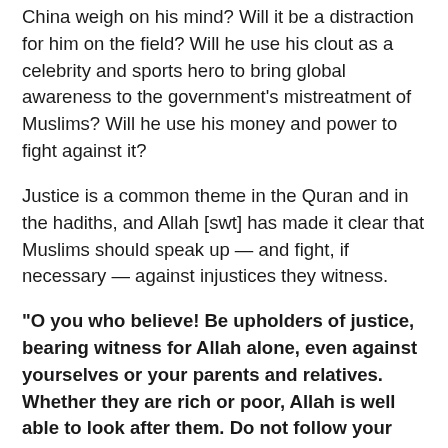China weigh on his mind? Will it be a distraction for him on the field? Will he use his clout as a celebrity and sports hero to bring global awareness to the government's mistreatment of Muslims? Will he use his money and power to fight against it?
Justice is a common theme in the Quran and in the hadiths, and Allah [swt] has made it clear that Muslims should speak up — and fight, if necessary — against injustices they witness.
"O you who believe! Be upholders of justice, bearing witness for Allah alone, even against yourselves or your parents and relatives. Whether they are rich or poor, Allah is well able to look after them. Do not follow your own desires and deviate from the truth. If you twist or turn away, Allah is aware of what you do."